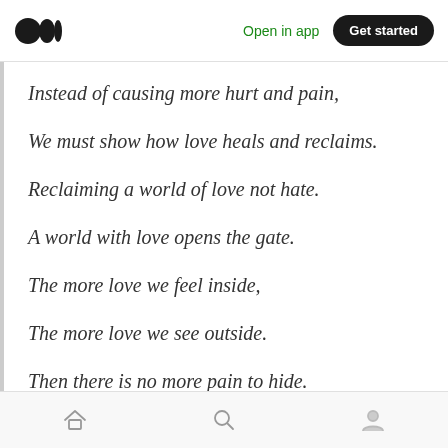Open in app | Get started
Instead of causing more hurt and pain,
We must show how love heals and reclaims.
Reclaiming a world of love not hate.
A world with love opens the gate.
The more love we feel inside,
The more love we see outside.
Then there is no more pain to hide.
Home | Search | Profile